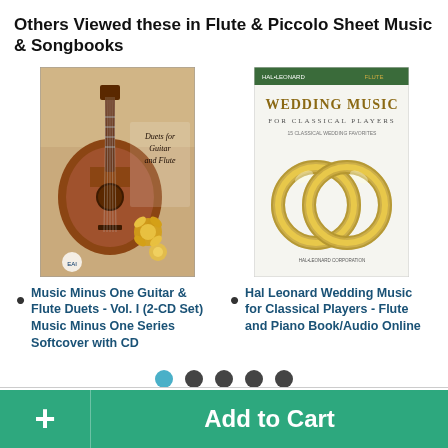Others Viewed these in Flute & Piccolo Sheet Music & Songbooks
[Figure (illustration): Book cover: Duets for Guitar and Flute - showing a guitar and flowers]
Music Minus One Guitar & Flute Duets - Vol. I (2-CD Set) Music Minus One Series Softcover with CD
[Figure (illustration): Book cover: Wedding Music for Classical Players - showing gold wedding rings]
Hal Leonard Wedding Music for Classical Players - Flute and Piano Book/Audio Online